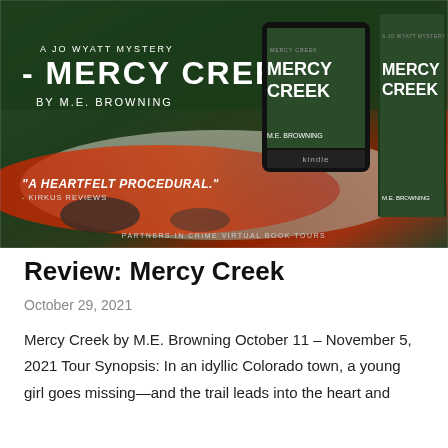[Figure (photo): Promotional banner for 'Mercy Creek' by M.E. Browning — A Jo Wyatt Mystery. Background shows a forest river scene with red/orange color effects. Text reads 'A JO WYATT MYSTERY', '- MERCY CREEK -', 'BY M.E. BROWNING', '"A HEARTFELT PROCEDURAL." - KIRKUS REVIEWS', 'PARTNERS IN CRIME VIRTUAL BOOK TOURS'. Shows a Kindle e-reader device and a physical book copy.]
Review: Mercy Creek
October 29, 2021
Mercy Creek by M.E. Browning October 11 – November 5, 2021 Tour Synopsis: In an idyllic Colorado town, a young girl goes missing—and the trail leads into the heart and